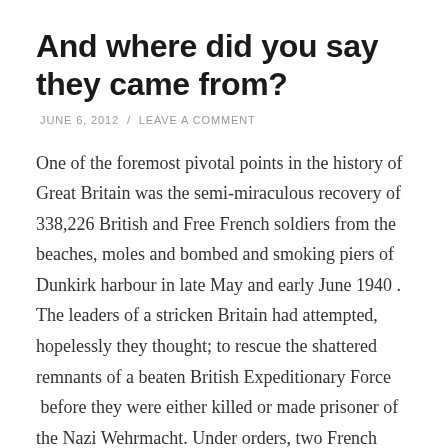And where did you say they came from?
JUNE 6, 2012 / LEAVE A COMMENT
One of the foremost pivotal points in the history of Great Britain was the semi-miraculous recovery of 338,226 British and Free French soldiers from the beaches, moles and bombed and smoking piers of Dunkirk harbour in late May and early June 1940 . The leaders of a stricken Britain had attempted, hopelessly they thought; to rescue the shattered remnants of a beaten British Expeditionary Force  before they were either killed or made prisoner of the Nazi Wehrmacht. Under orders, two French Divisions remained behind to cover the evacuation, they were all either taken prisoner or killed. The hundreds of small ships, cabin